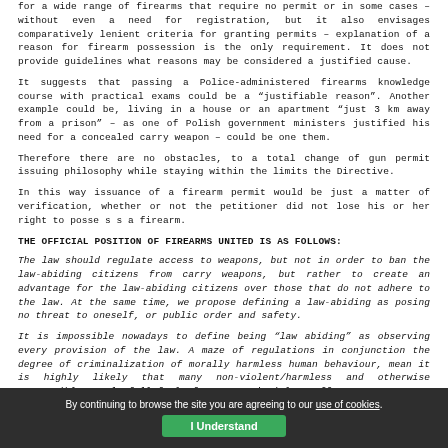for a wide range of firearms that require no permit or in some cases – without even a need for registration, but it also envisages comparatively lenient criteria for granting permits – explanation of a reason for firearm possession is the only requirement. It does not provide guidelines what reasons may be considered a justified cause.
It suggests that passing a Police-administered firearms knowledge course with practical exams could be a 'justifiable reason'. Another example could be, living in a house or an apartment 'just 3km away from a prison' – as one of Polish government ministers justified his need for a concealed carry weapon – could be one them.
Therefore there are no obstacles, to a total change of gun permit issuing philosophy while staying within the limits the Directive.
In this way issuance of a firearm permit would be just a matter of verification, whether or not the petitioner did not lose his or her right to possess a firearm.
THE OFFICIAL POSITION OF FIREARMS UNITED IS AS FOLLOWS:
The law should regulate access to weapons, but not in order to ban the law-abiding citizens from carry weapons, but rather to create an advantage for the law-abiding citizens over those that do not adhere to the law. At the same time, we propose defining a law-abiding as posing no threat to oneself, or public order and safety.
It is impossible nowadays to define being "law abiding" as observing every provision of the law. A maze of regulations in conjunction the degree of criminalization of morally harmless human behaviour, mean it is highly likely that many non-violent/harmless and otherwise responsible people fall foul of a petty victimless offence.
Restrictions should not so overly restrictive that it makes it impossible to realistically apply for and receive
By continuing to browse the site you are agreeing to our use of cookies.
I Understand